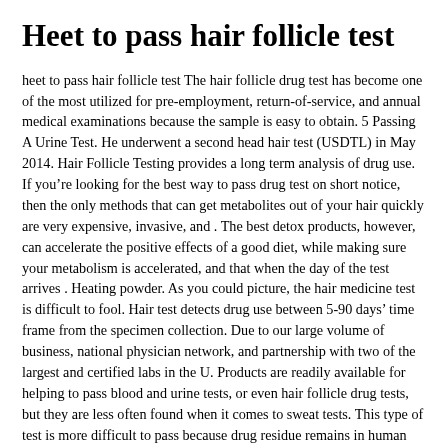Heet to pass hair follicle test
heet to pass hair follicle test The hair follicle drug test has become one of the most utilized for pre-employment, return-of-service, and annual medical examinations because the sample is easy to obtain. 5 Passing A Urine Test. He underwent a second head hair test (USDTL) in May 2014. Hair Follicle Testing provides a long term analysis of drug use. If you’re looking for the best way to pass drug test on short notice, then the only methods that can get metabolites out of your hair quickly are very expensive, invasive, and . The best detox products, however, can accelerate the positive effects of a good diet, while making sure your metabolism is accelerated, and that when the day of the test arrives . Heating powder. As you could picture, the hair medicine test is difficult to fool. Hair test detects drug use between 5-90 days’ time frame from the specimen collection. Due to our large volume of business, national physician network, and partnership with two of the largest and certified labs in the U. Products are readily available for helping to pass blood and urine tests, or even hair follicle drug tests, but they are less often found when it comes to sweat tests. This type of test is more difficult to pass because drug residue remains in human hair for around 110 days. ) Use Clean Shampoo to Pass a Drug Test. However, it has been reported to work to pass